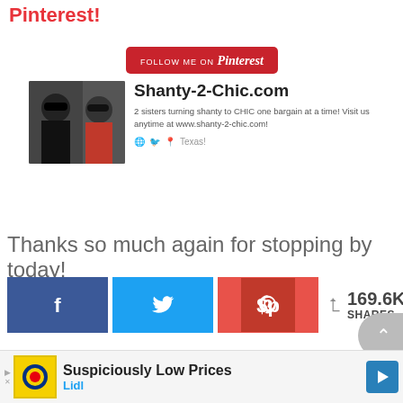Pinterest!
[Figure (screenshot): Pinterest Follow Me button and Shanty-2-Chic.com profile widget showing two women with sunglasses, profile name, description, and Texas location]
Thanks so much again for stopping by today!
[Figure (infographic): Social share buttons: Facebook (blue), Twitter (light blue), Pinterest (red), with 169.6K SHARES count]
MORE FROM SHANTY-2-CHIC
[Figure (screenshot): Bottom ad banner: Lidl - Suspiciously Low Prices advertisement]